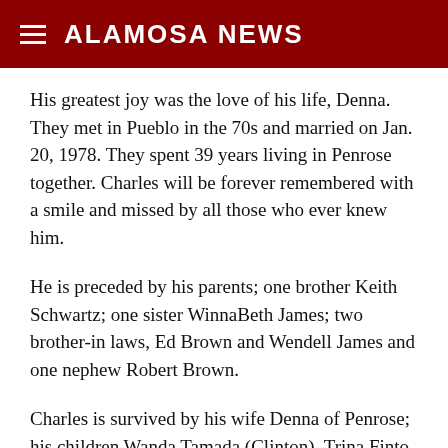ALAMOSA NEWS
His greatest joy was the love of his life, Denna. They met in Pueblo in the 70s and married on Jan. 20, 1978. They spent 39 years living in Penrose together. Charles will be forever remembered with a smile and missed by all those who ever knew him.
He is preceded by his parents; one brother Keith Schwartz; one sister WinnaBeth James; two brother-in laws, Ed Brown and Wendell James and one nephew Robert Brown.
Charles is survived by his wife Denna of Penrose; his children Wanda Tamada (Clinton), Trina Finto (Keith), Ed Willits (Sherry), Rick Willits (Bonnie), Donna Willits Garcia (Carmen); 11 grandchildren…